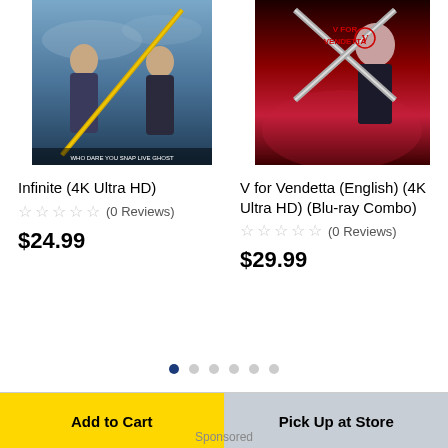[Figure (photo): Movie cover art for Infinite (4K Ultra HD) showing two people facing each other with a golden sword between them against a cloudy blue sky]
[Figure (photo): Movie cover art for V for Vendetta showing a masked figure with red background and crossed knives, with the V for Vendetta logo]
Infinite (4K Ultra HD)
☆☆☆☆☆ (0 Reviews)
$24.99
V for Vendetta (English) (4K Ultra HD) (Blu-ray Combo)
☆☆☆☆☆ (0 Reviews)
$29.99
Sponsored